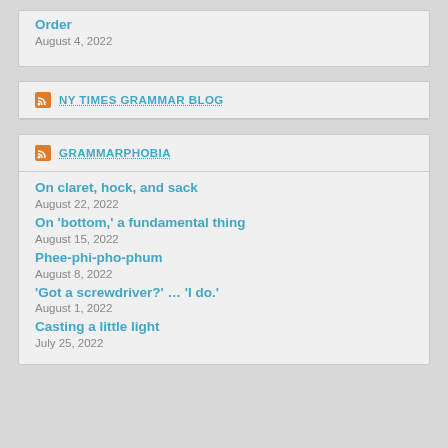Order
August 4, 2022
NY TIMES GRAMMAR BLOG
GRAMMARPHOBIA
On claret, hock, and sack
August 22, 2022
On 'bottom,' a fundamental thing
August 15, 2022
Phee-phi-pho-phum
August 8, 2022
'Got a screwdriver?' … 'I do.'
August 1, 2022
Casting a little light
July 25, 2022